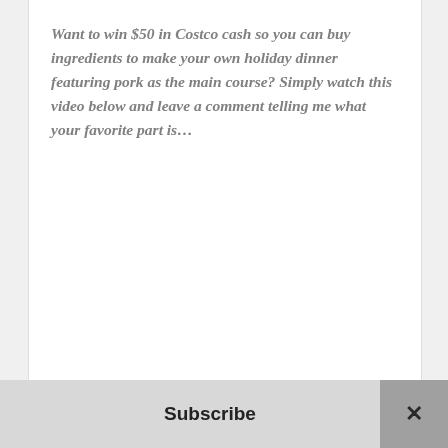Want to win $50 in Costco cash so you can buy ingredients to make your own holiday dinner featuring pork as the main course? Simply watch this video below and leave a comment telling me what your favorite part is…
Subscribe ×